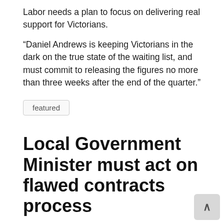Labor needs a plan to focus on delivering real support for Victorians.
“Daniel Andrews is keeping Victorians in the dark on the true state of the waiting list, and must commit to releasing the figures no more than three weeks after the end of the quarter.”
featured
Local Government Minister must act on flawed contracts process
Revelations from today’s report from the Victorian Ombudsman that a senior member of Melton City Council